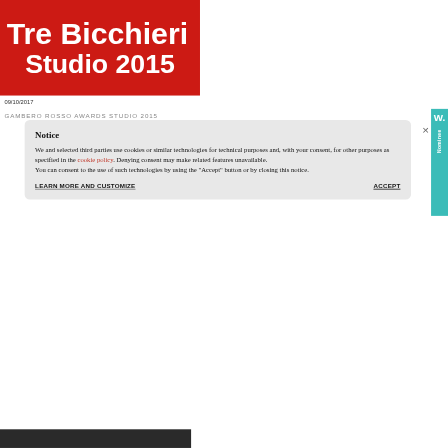[Figure (screenshot): Red banner with white bold text reading 'Tre Bicchieri' on top line and 'Studio 2015' on second line, on a dark red background.]
09/10/2017
GAMBERO ROSSO AWARDS STUDIO 2015
Notice
We and selected third parties use cookies or similar technologies for technical purposes and, with your consent, for other purposes as specified in the cookie policy. Denying consent may make related features unavailable.
You can consent to the use of such technologies by using the "Accept" button or by closing this notice.
LEARN MORE AND CUSTOMIZE
ACCEPT